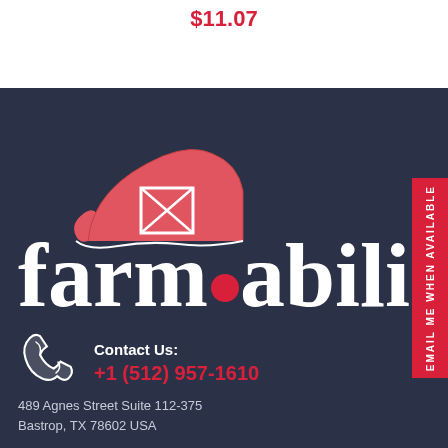$11.07
[Figure (logo): farm.abilia logo with red barn roof icon above the word 'farm' and '.abilia' in white serif text on dark navy background]
Contact Us:
+1 (512) 957-1610
489 Agnes Street Suite 112-375
Bastrop, TX 78602 USA
EMAIL ME WHEN AVAILABLE